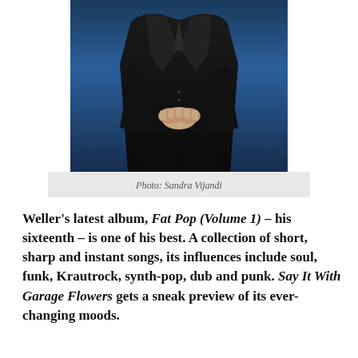[Figure (photo): A man in a black suit standing against a blue background, hands clasped in front]
Photo: Sandra Vijandi
Weller's latest album, Fat Pop (Volume 1) – his sixteenth – is one of his best. A collection of short, sharp and instant songs, its influences include soul, funk, Krautrock, synth-pop, dub and punk. Say It With Garage Flowers gets a sneak preview of its ever-changing moods.